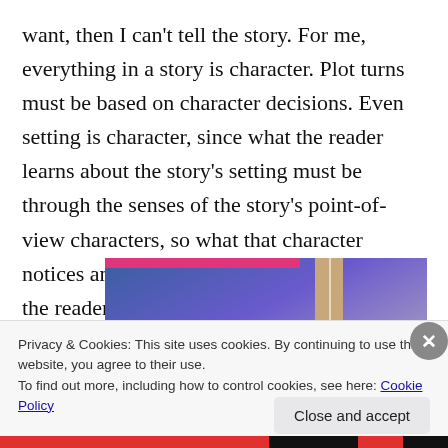want, then I can't tell the story. For me, everything in a story is character. Plot turns must be based on character decisions. Even setting is character, since what the reader learns about the story's setting must be through the senses of the story's point-of-view characters, so what that character notices and cares about in the setting is what the reader experiences as well.
[Figure (illustration): Partial view of a book cover with blue-purple gradient background, a pink/magenta bar at the top left, and a tan/beige rectangular bookmark shape on the right side.]
Privacy & Cookies: This site uses cookies. By continuing to use this website, you agree to their use.
To find out more, including how to control cookies, see here: Cookie Policy